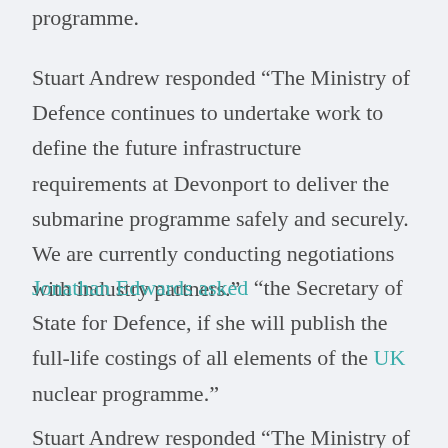programme.
Stuart Andrew responded “The Ministry of Defence continues to undertake work to define the future infrastructure requirements at Devonport to deliver the submarine programme safely and securely. We are currently conducting negotiations with industry partners.”
Jonathan Edwards asked “the Secretary of State for Defence, if she will publish the full-life costings of all elements of the UK nuclear programme.”
Stuart Andrew responded “The Ministry of